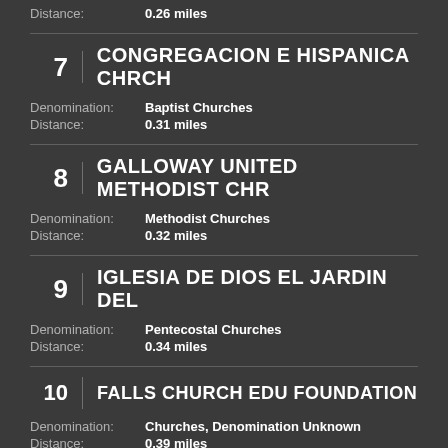Distance: 0.26 miles
7 | CONGREGACION E HISPANICA CHRCH
Denomination: Baptist Churches
Distance: 0.31 miles
8 | GALLOWAY UNITED METHODIST CHR
Denomination: Methodist Churches
Distance: 0.32 miles
9 | IGLESIA DE DIOS EL JARDIN DEL
Denomination: Pentecostal Churches
Distance: 0.34 miles
10 | FALLS CHURCH EDU FOUNDATION
Denomination: Churches, Denomination Unknown
Distance: 0.39 miles